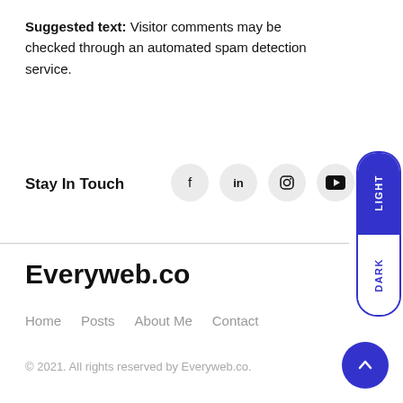Suggested text: Visitor comments may be checked through an automated spam detection service.
Stay In Touch
[Figure (infographic): Social media icons: Facebook, LinkedIn, Instagram, YouTube in circular grey buttons]
[Figure (infographic): Light/Dark mode toggle pill with LIGHT (blue) on top and DARK (white) on bottom]
Everyweb.co
Home
Posts
About Me
Contact
© 2021. All rights reserved by Everyweb.co.
[Figure (infographic): Blue circular back-to-top arrow button]